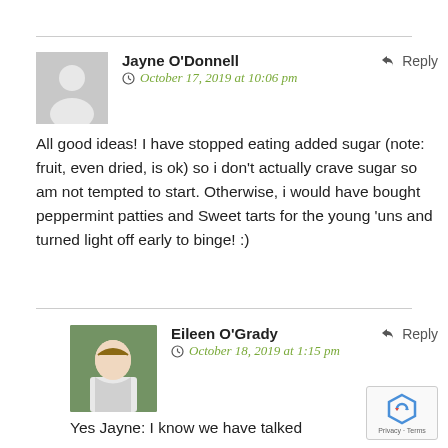Jayne O'Donnell
Reply
October 17, 2019 at 10:06 pm
All good ideas! I have stopped eating added sugar (note: fruit, even dried, is ok) so i don't actually crave sugar so am not tempted to start. Otherwise, i would have bought peppermint patties and Sweet tarts for the young 'uns and turned light off early to binge! :)
Eileen O'Grady
Reply
October 18, 2019 at 1:15 pm
Yes Jayne: I know we have talked